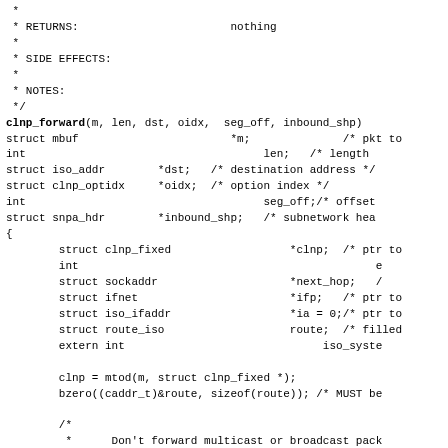Source code fragment showing clnp_forward function definition with comments for RETURNS, SIDE EFFECTS, NOTES, parameter declarations, and initial function body with variable declarations and code.